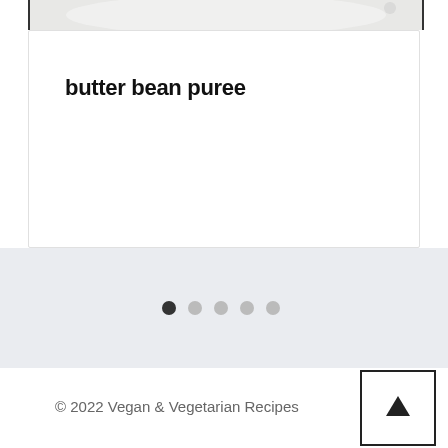[Figure (photo): Top portion of a food photograph showing a white plate with butter bean puree, cropped at the top of the card]
butter bean puree
[Figure (infographic): Slider pagination dots: 6 dots total, first dot is dark/active, remaining 5 are light gray/inactive]
© 2022 Vegan & Vegetarian Recipes